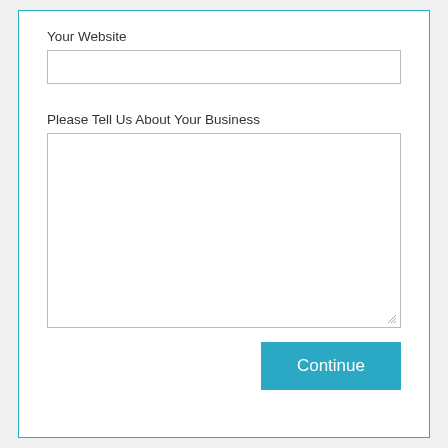Your Website
[Figure (screenshot): Empty text input field for website URL]
Please Tell Us About Your Business
[Figure (screenshot): Large empty textarea for business description with resize handle]
Continue